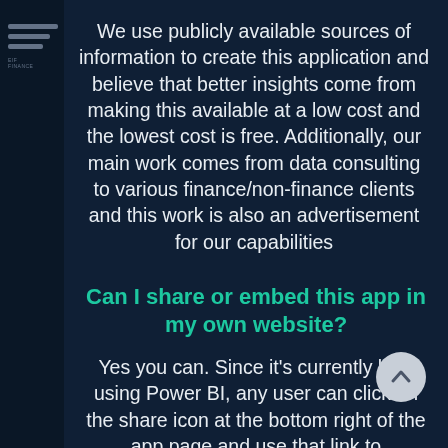We use publicly available sources of information to create this application and believe that better insights come from making this available at a low cost and the lowest cost is free. Additionally, our main work comes from data consulting to various finance/non-finance clients and this work is also an advertisement for our capabilities
Can I share or embed this app in my own website?
Yes you can. Since it's currently built using Power BI, any user can click on the share icon at the bottom right of the app page and use that link to